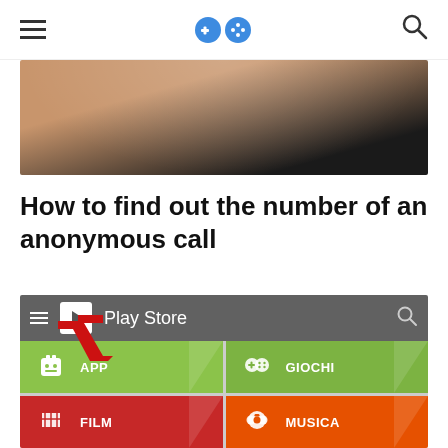Navigation bar with hamburger menu, game controller logo, and search icon
[Figure (photo): Blurred close-up photo of a person's face/ear area, likely holding a phone to their ear]
How to find out the number of an anonymous call
[Figure (screenshot): Google Play Store app screenshot showing the Play Store header bar with hamburger menu, Play Store logo and title, search icon, a red arrow pointing to the Play Store icon, and a grid of app categories: APP, GIOCHI, FILM, MUSICA, and partial LIBRI and EDICOLA tiles]